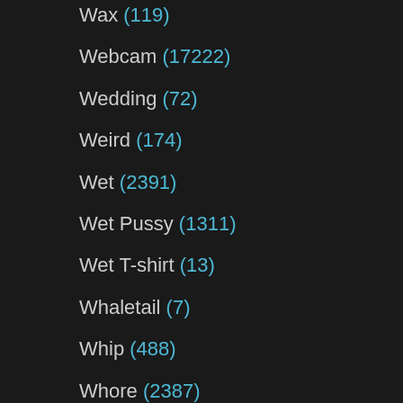Wax (119)
Webcam (17222)
Wedding (72)
Weird (174)
Wet (2391)
Wet Pussy (1311)
Wet T-shirt (13)
Whaletail (7)
Whip (488)
Whore (2387)
Wife (14971)
Wife Anal (1597)
Wife Blowjob (2661)
Wife Gangbang (248)
Wife Handjob (260)